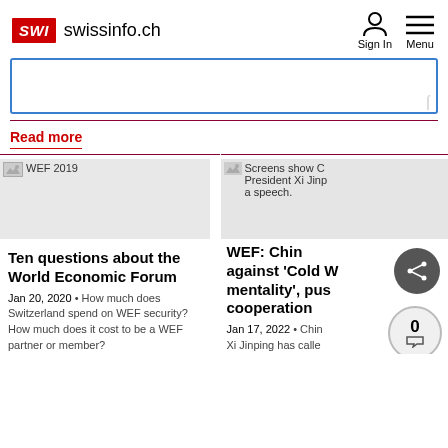SWI swissinfo.ch
[Figure (screenshot): Search text box with blue border]
Read more
[Figure (photo): WEF 2019 image placeholder]
Ten questions about the World Economic Forum
Jan 20, 2020 • How much does Switzerland spend on WEF security? How much does it cost to be a WEF partner or member?
[Figure (photo): Screens show Chinese President Xi Jinping giving a speech.]
WEF: China warns against 'Cold War mentality', pushes cooperation
Jan 17, 2022 • China Xi Jinping has called...